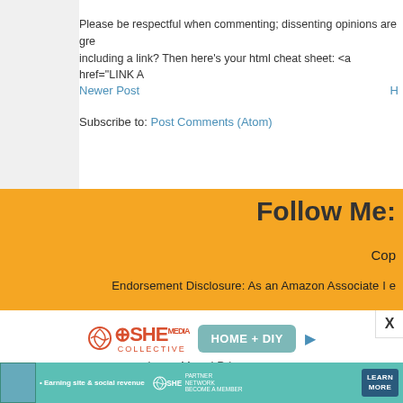Please be respectful when commenting; dissenting opinions are gre including a link? Then here's your html cheat sheet: <a href="LINK A
Newer Post
H
Subscribe to: Post Comments (Atom)
Follow Me:
Cop
Endorsement Disclosure: As an Amazon Associate I e
[Figure (logo): SHE Media Collective Home + DIY logo with play button icon]
Learn More | Privacy
[Figure (infographic): SHE Media Partner Network banner ad - teal background with woman photo, text 'Earning site & social revenue', SHE logo, and Learn More button]